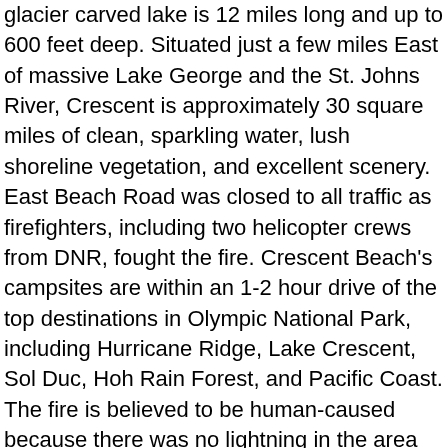glacier carved lake is 12 miles long and up to 600 feet deep. Situated just a few miles East of massive Lake George and the St. Johns River, Crescent is approximately 30 square miles of clean, sparkling water, lush shoreline vegetation, and excellent scenery. East Beach Road was closed to all traffic as firefighters, including two helicopter crews from DNR, fought the fire. Crescent Beach's campsites are within an 1-2 hour drive of the top destinations in Olympic National Park, including Hurricane Ridge, Lake Crescent, Sol Duc, Hoh Rain Forest, and Pacific Coast. The fire is believed to be human-caused because there was no lightning in the area last week. A wildfire was discovered this week just North of East Beach Road near Lake Crescent in Olympic National Park. Flames may be visible after sundown as fire activity becomes more noticeable in the night sky. East Beach Road is closed to visitor traffic at the Hwy 101 intersection. The East Beach Road fire near Lake Crescent in the Olympic National Park is believed to be “human-ignited” though DNR does not yet know the exact cause. These rooms offer a more contemporary experience but